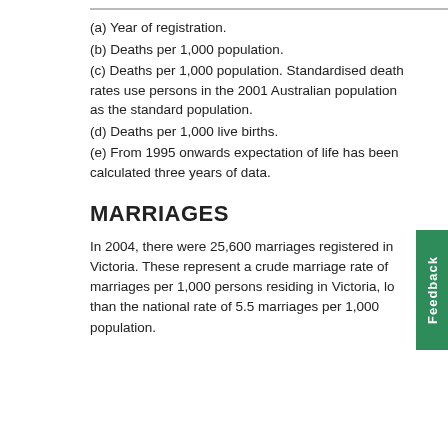(a) Year of registration.
(b) Deaths per 1,000 population.
(c) Deaths per 1,000 population. Standardised death rates use persons in the 2001 Australian population as the standard population.
(d) Deaths per 1,000 live births.
(e) From 1995 onwards expectation of life has been calculated three years of data.
MARRIAGES
In 2004, there were 25,600 marriages registered in Victoria. These represent a crude marriage rate of marriages per 1,000 persons residing in Victoria, lo than the national rate of 5.5 marriages per 1,000 population.